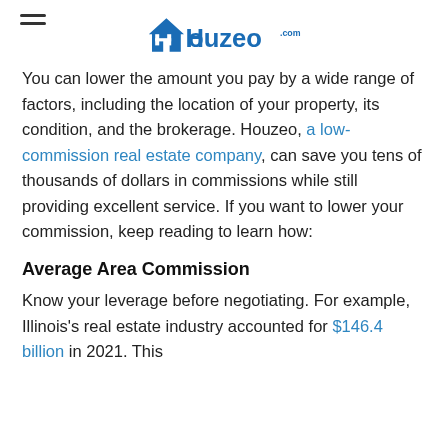Houzeo.com
You can lower the amount you pay by a wide range of factors, including the location of your property, its condition, and the brokerage. Houzeo, a low-commission real estate company, can save you tens of thousands of dollars in commissions while still providing excellent service. If you want to lower your commission, keep reading to learn how:
Average Area Commission
Know your leverage before negotiating. For example, Illinois's real estate industry accounted for $146.4 billion in 2021. This